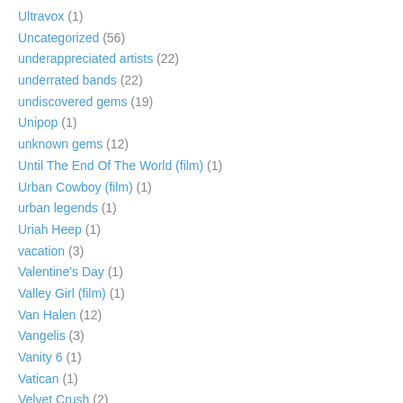Ultravox (1)
Uncategorized (56)
underappreciated artists (22)
underrated bands (22)
undiscovered gems (19)
Unipop (1)
unknown gems (12)
Until The End Of The World (film) (1)
Urban Cowboy (film) (1)
urban legends (1)
Uriah Heep (1)
vacation (3)
Valentine's Day (1)
Valley Girl (film) (1)
Van Halen (12)
Vangelis (3)
Vanity 6 (1)
Vatican (1)
Velvet Crush (2)
video games (5)